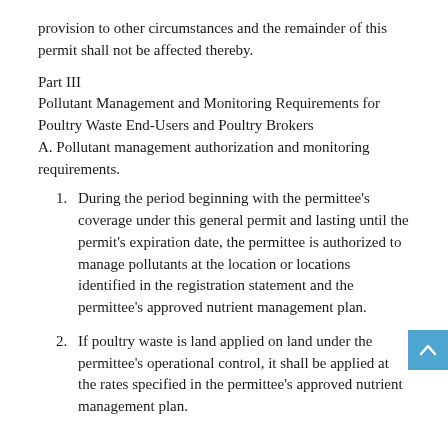provision to other circumstances and the remainder of this permit shall not be affected thereby.
Part III
Pollutant Management and Monitoring Requirements for Poultry Waste End-Users and Poultry Brokers
A. Pollutant management authorization and monitoring requirements.
1. During the period beginning with the permittee's coverage under this general permit and lasting until the permit's expiration date, the permittee is authorized to manage pollutants at the location or locations identified in the registration statement and the permittee's approved nutrient management plan.
2. If poultry waste is land applied on land under the permittee's operational control, it shall be applied at the rates specified in the permittee's approved nutrient management plan.